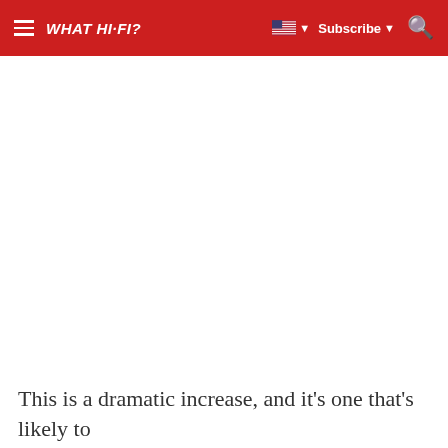WHAT HI-FI?
[Figure (other): Large white blank/advertisement area]
This is a dramatic increase, and it's one that's likely to